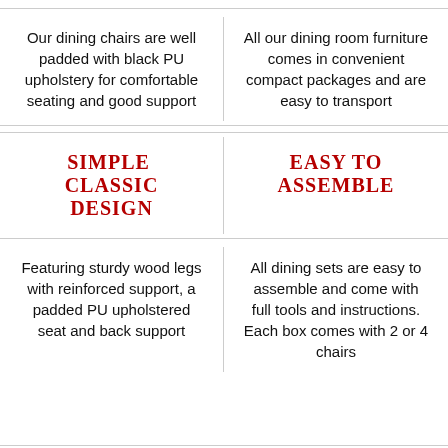Our dining chairs are well padded with black PU upholstery for comfortable seating and good support
All our dining room furniture comes in convenient compact packages and are easy to transport
SIMPLE CLASSIC DESIGN
EASY TO ASSEMBLE
Featuring sturdy wood legs with reinforced support, a padded PU upholstered seat and back support
All dining sets are easy to assemble and come with full tools and instructions. Each box comes with 2 or 4 chairs